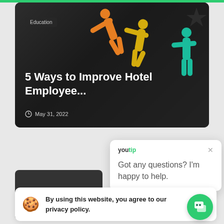[Figure (photo): Hero card with colorful wooden human figure cutouts on a dark wooden background]
Education
5 Ways to Improve Hotel Employee...
May 31, 2022
youtip
Got any questions? I'm happy to help.
By using this website, you agree to our privacy policy.